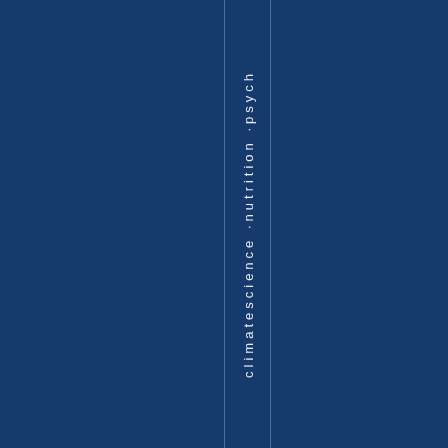[Figure (other): Dark navy blue background with two thin vertical lines forming a column/spine area containing vertically-oriented text reading 'climatescience · nutrition · psych' (partially visible), rendered in white thin sans-serif font rotated 90 degrees]